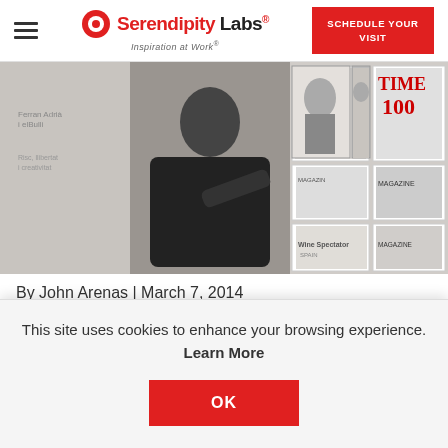Serendipity Labs — Inspiration at Work® | SCHEDULE YOUR VISIT
[Figure (photo): A man in a black shirt gesturing at a wall covered in text/maps, with framed photos and magazine covers (TIME, Wine Spectator, etc.) visible in the background.]
By John Arenas | March 7, 2014
This site uses cookies to enhance your browsing experience. Learn More
OK